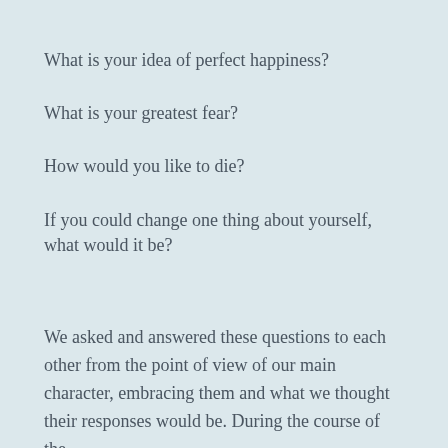What is your idea of perfect happiness?
What is your greatest fear?
How would you like to die?
If you could change one thing about yourself, what would it be?
We asked and answered these questions to each other from the point of view of our main character, embracing them and what we thought their responses would be. During the course of the